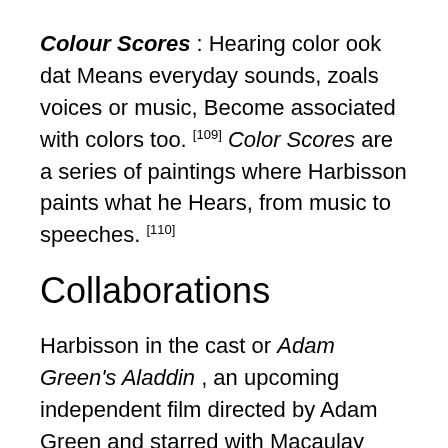Colour Scores : Hearing color ook dat Means everyday sounds, zoals voices or music, Become associated with colors too. [109] Color Scores are a series of paintings where Harbisson paints what he Hears, from music to speeches. [110]
Collaborations
Harbisson in the cast or Adam Green's Aladdin , an upcoming independent film directed by Adam Green and starred with Macaulay Culkin , Natasha Lyonne , Alia Shawkat and Francesco Clemente onder Vodafone.
Harbisson has collaborated extensively with Catalan choreographer Moon Ribas in a series of devised theater and dance performances, zoals